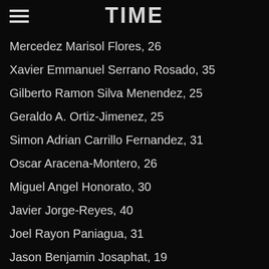TIME
Mercedez Marisol Flores, 26
Xavier Emmanuel Serrano Rosado, 35
Gilberto Ramon Silva Menendez, 25
Geraldo A. Ortiz-Jimenez, 25
Simon Adrian Carrillo Fernandez, 31
Oscar Aracena-Montero, 26
Miguel Angel Honorato, 30
Javier Jorge-Reyes, 40
Joel Rayon Paniagua, 31
Jason Benjamin Josaphat, 19
Cory James Connell, 21
Juan P. Rivera Velazquez, 37